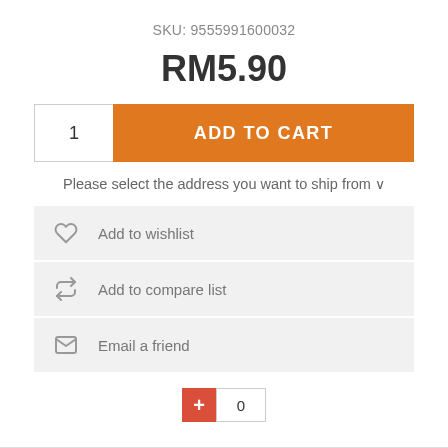SKU: 9555991600032
RM5.90
[Figure (screenshot): Add to cart row with quantity box showing '1' and orange 'ADD TO CART' button]
Please select the address you want to ship from ∨
Add to wishlist
Add to compare list
Email a friend
[Figure (screenshot): Red plus button and count box showing 0]